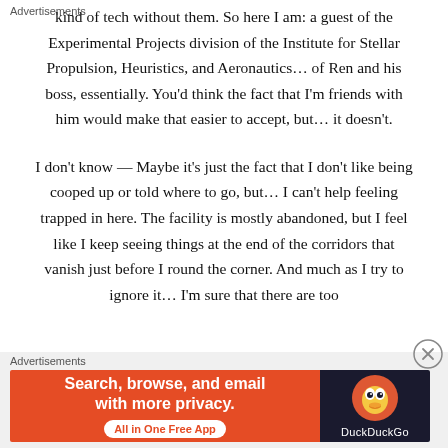solution, and there's no way I could get access to that kind of tech without them. So here I am: a guest of the Experimental Projects division of the Institute for Stellar Propulsion, Heuristics, and Aeronautics... of Ren and his boss, essentially. You'd think the fact that I'm friends with him would make that easier to accept, but... it doesn't.
I don't know — Maybe it's just the fact that I don't like being cooped up or told where to go, but... I can't help feeling trapped in here. The facility is mostly abandoned, but I feel like I keep seeing things at the end of the corridors that vanish just before I round the corner. And much as I try to ignore it... I'm sure that there are too
Advertisements
[Figure (other): DuckDuckGo advertisement banner: orange left section with text 'Search, browse, and email with more privacy. All in One Free App' and dark right section with DuckDuckGo logo and name.]